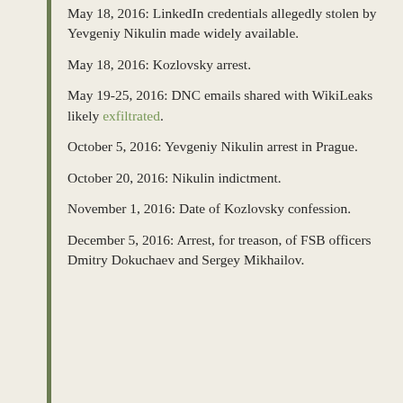May 18, 2016: LinkedIn credentials allegedly stolen by Yevgeniy Nikulin made widely available.
May 18, 2016: Kozlovsky arrest.
May 19-25, 2016: DNC emails shared with WikiLeaks likely exfiltrated.
October 5, 2016: Yevgeniy Nikulin arrest in Prague.
October 20, 2016: Nikulin indictment.
November 1, 2016: Date of Kozlovsky confession.
December 5, 2016: Arrest, for treason, of FSB officers Dmitry Dokuchaev and Sergey Mikhailov.